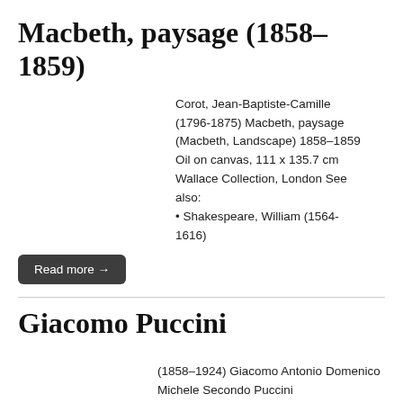Macbeth, paysage (1858–1859)
Corot, Jean-Baptiste-Camille (1796-1875) Macbeth, paysage (Macbeth, Landscape) 1858–1859 Oil on canvas, 111 x 135.7 cm Wallace Collection, London See also:
• Shakespeare, William (1564-1616)
Read more →
Giacomo Puccini
(1858–1924) Giacomo Antonio Domenico Michele Secondo Puccini